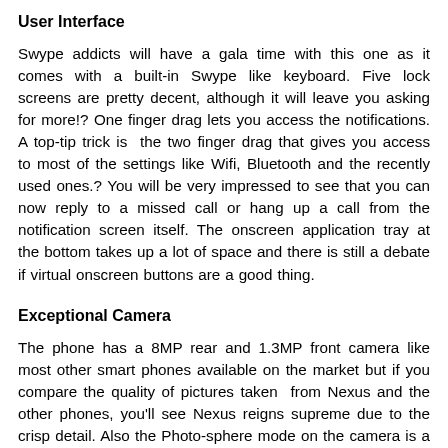User Interface
Swype addicts will have a gala time with this one as it comes with a built-in Swype like keyboard. Five lock screens are pretty decent, although it will leave you asking for more!? One finger drag lets you access the notifications. A top-tip trick is  the two finger drag that gives you access to most of the settings like Wifi, Bluetooth and the recently used ones.? You will be very impressed to see that you can now reply to a missed call or hang up a call from the notification screen itself. The onscreen application tray at the bottom takes up a lot of space and there is still a debate if virtual onscreen buttons are a good thing.
Exceptional Camera
The phone has a 8MP rear and 1.3MP front camera like most other smart phones available on the market but if you compare the quality of pictures taken  from Nexus and the other phones, you'll see Nexus reigns supreme due to the crisp detail. Also the Photo-sphere mode on the camera is a hit! The inbuilt editor in the camera helps you take pictures